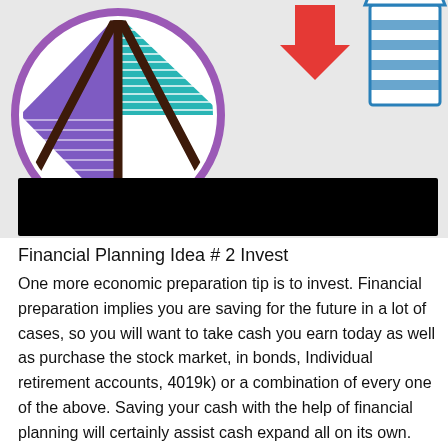[Figure (photo): Photo showing investment-themed illustrated stickers/badges including a circular badge with 'BONDS' label and teal/purple/dark triangle design, a red upward arrow shape, and a partial view of another illustrated item on the right. A black bar overlays the lower portion of the image.]
Financial Planning Idea # 2 Invest
One more economic preparation tip is to invest. Financial preparation implies you are saving for the future in a lot of cases, so you will want to take cash you earn today as well as purchase the stock market, in bonds, Individual retirement accounts, 4019k) or a combination of every one of the above. Saving your cash with the help of financial planning will certainly assist cash expand all on its own.